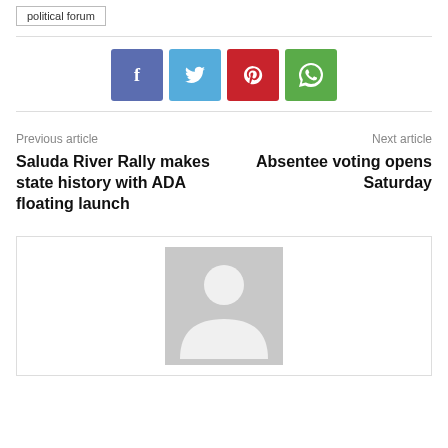political forum
[Figure (other): Social sharing buttons: Facebook (blue-purple), Twitter (light blue), Pinterest (red), WhatsApp (green)]
Previous article
Saluda River Rally makes state history with ADA floating launch
Next article
Absentee voting opens Saturday
[Figure (photo): Default user avatar placeholder — grey background with white silhouette of a person]